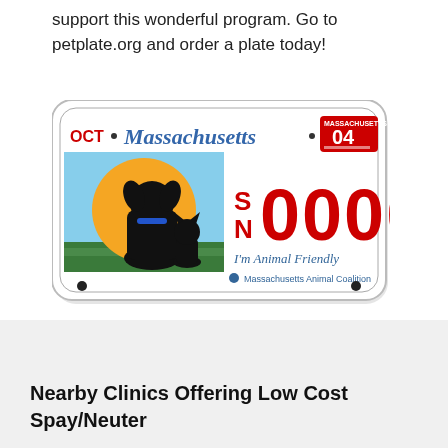support this wonderful program. Go to petplate.org and order a plate today!
[Figure (illustration): Massachusetts license plate reading 'SN0000' with 'I'm Animal Friendly' and Massachusetts Animal Coalition logo. Features silhouette of a dog and cat against an orange sun on a blue/green background. Plate shows OCT and year 04 sticker.]
Nearby Clinics Offering Low Cost Spay/Neuter